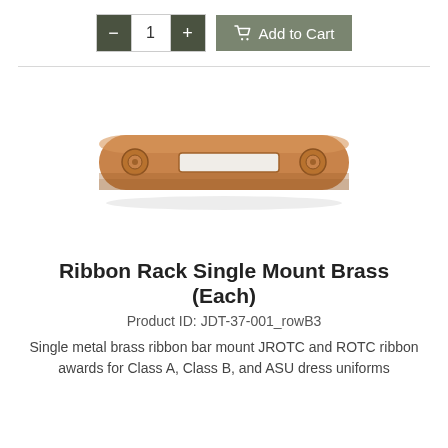[Figure (screenshot): E-commerce add to cart UI with quantity selector showing '-', '1', '+' buttons and an 'Add to Cart' button]
[Figure (photo): A single brass ribbon rack mount bar, horizontal, oval-ended, with a rectangular slot in the center and two screws on each end. Gold/copper colored metal.]
Ribbon Rack Single Mount Brass (Each)
Product ID: JDT-37-001_rowB3
Single metal brass ribbon bar mount JROTC and ROTC ribbon awards for Class A, Class B, and ASU dress uniforms